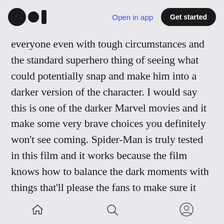Medium logo | Open in app | Get started
everyone even with tough circumstances and the standard superhero thing of seeing what could potentially snap and make him into a darker version of the character. I would say this is one of the darker Marvel movies and it make some very brave choices you definitely won't see coming. Spider-Man is truly tested in this film and it works because the film knows how to balance the dark moments with things that'll please the fans to make sure it doesn't end up being a Nolan-esque effort as well as giving Peter Parker things that are well worth getting broody about. Also he
Home | Search | Profile